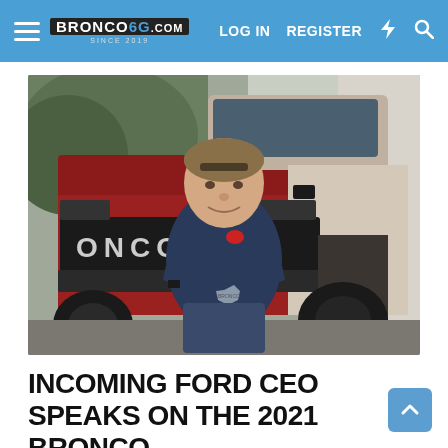BRONCO6G.COM SINCE 2019 | LOG IN | REGISTER
[Figure (photo): A man in a dark navy polo shirt with arms crossed stands in front of a red and white Ford Bronco SUV. The Bronco's grille with letters 'ONCO' visible is prominently featured. The man appears to be middle-aged with a relaxed smile. A hexagonal Bronco Nation badge is visible on his belt area.]
INCOMING FORD CEO SPEAKS ON THE 2021 BRONCO